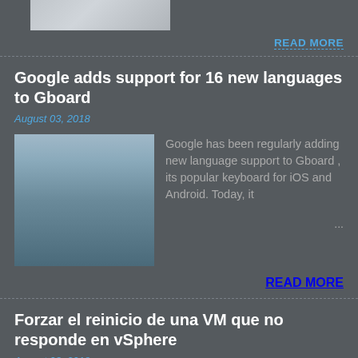[Figure (photo): Partial top image cropped at page top, grey/white tones]
READ MORE
Google adds support for 16 new languages to Gboard
August 03, 2018
[Figure (photo): Woman wearing hijab looking at phone on city street]
Google has been regularly adding new language support to Gboard , its popular keyboard for iOS and Android. Today, it ...
READ MORE
Forzar el reinicio de una VM que no responde en vSphere
August 03, 2018
[Figure (photo): Partial bottom image cropped at page bottom]